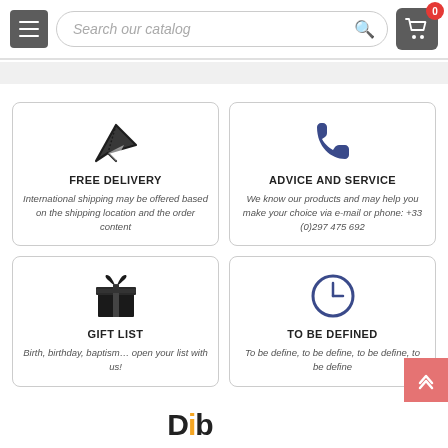Search our catalog — navigation header with hamburger menu and cart
[Figure (infographic): Free Delivery card with paper plane icon. Title: FREE DELIVERY. Description: International shipping may be offered based on the shipping location and the order content]
[Figure (infographic): Advice and Service card with phone icon. Title: ADVICE AND SERVICE. Description: We know our products and may help you make your choice via e-mail or phone: +33 (0)297 475 692]
[Figure (infographic): Gift List card with gift box icon. Title: GIFT LIST. Description: Birth, birthday, baptism... open your list with us!]
[Figure (infographic): To Be Defined card with clock icon. Title: TO BE DEFINED. Description: To be define, to be define, to be define, to be define]
Dib